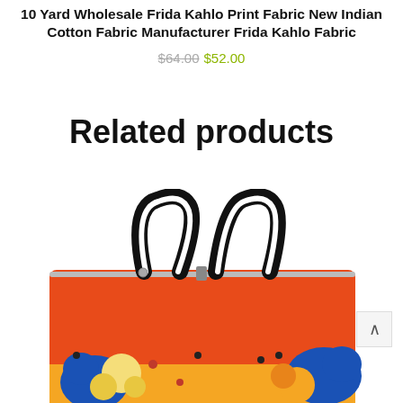10 Yard Wholesale Frida Kahlo Print Fabric New Indian Cotton Fabric Manufacturer Frida Kahlo Fabric
$64.00 $52.00
Related products
[Figure (photo): A colorful floral patterned tote bag with black handles, featuring orange, yellow, and blue flower motifs on a red background. The image shows the top portion of the bag including the two black leather handles.]